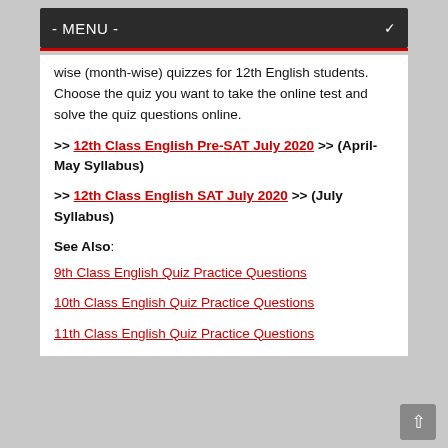- MENU -
wise (month-wise) quizzes for 12th English students. Choose the quiz you want to take the online test and solve the quiz questions online.
>> 12th Class English Pre-SAT July 2020 >> (April-May Syllabus)
>> 12th Class English SAT July 2020 >> (July Syllabus)
See Also: 9th Class English Quiz Practice Questions
10th Class English Quiz Practice Questions
11th Class English Quiz Practice Questions